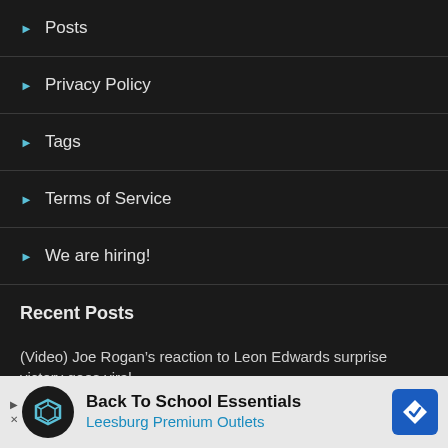Posts
Privacy Policy
Tags
Terms of Service
We are hiring!
Recent Posts
(Video) Joe Rogan's reaction to Leon Edwards surprise victory goes viral
Aljo Sterling diss? Leon Edwards talks being first Jama…
Dana… – ent –
[Figure (other): Advertisement banner: Back To School Essentials, Leesburg Premium Outlets]